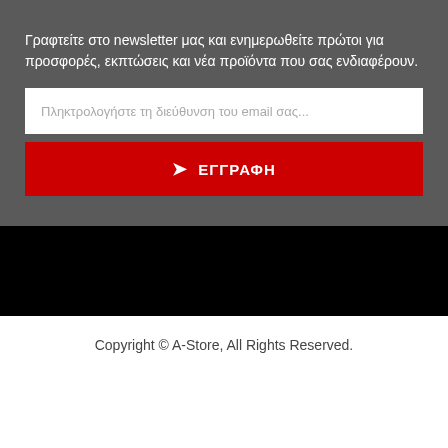Γραφτείτε στο newsletter μας και ενημερωθείτε πρώτοι για προσφορές, εκπτώσεις και νέα προϊόντα που σας ενδιαφέρουν.
Πληκτρολογήστε τη διεύθυνση του email σας...
ΕΓΓΡΑΦΗ
Copyright © A-Store, All Rights Reserved.